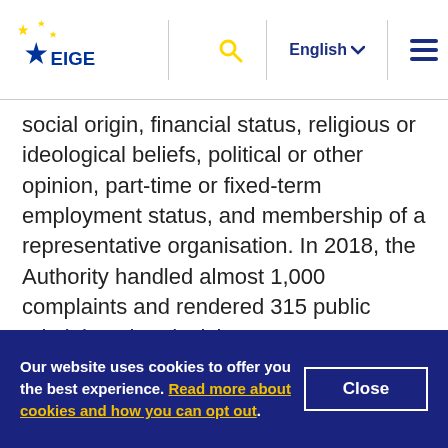EIGE | English
social origin, financial status, religious or ideological beliefs, political or other opinion, part-time or fixed-term employment status, and membership of a representative organisation. In 2018, the Authority handled almost 1,000 complaints and rendered 315 public administration decisions.

The EBH can initiate proceedings against an employer/public institution at the request of an
Our website uses cookies to offer you the best experience. Read more about cookies and how you can opt out.